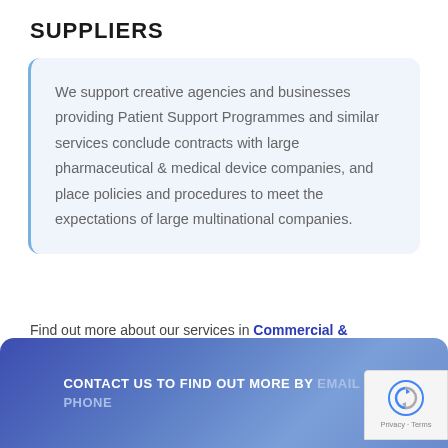SUPPLIERS
We support creative agencies and businesses providing Patient Support Programmes and similar services conclude contracts with large pharmaceutical & medical device companies, and place policies and procedures to meet the expectations of large multinational companies.
Find out more about our services in Commercial & Corporate Law
CONTACT US TO FIND OUT MORE BY EMAIL OR PHONE